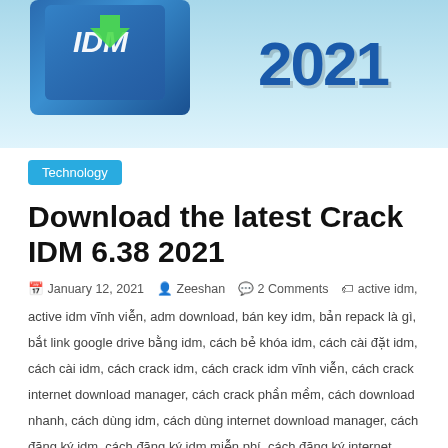[Figure (illustration): Hero banner with IDM software box graphic on the left and large bold '2021' text on the right, on a light blue gradient background]
Technology
Download the latest Crack IDM 6.38 2021
January 12, 2021  Zeeshan  2 Comments  active idm,
active idm vĩnh viễn, adm download, bán key idm, bản repack là gì, bắt link google drive bằng idm, cách bẻ khóa idm, cách cài đặt idm, cách cài idm, cách crack idm, cách crack idm vĩnh viễn, cách crack internet download manager, cách crack phần mềm, cách download nhanh, cách dùng idm, cách dùng internet download manager, cách đăng ký idm, cách đăng ký idm miễn phí, cách đăng ký internet download manager, cách gỡ bỏ internet download manager, cách gỡ idm, cách gỡ idm trên win 10, cách lấy serial number của idm, cách sử dụng free download manager, cách sử dụng idm vĩnh viễn, cách tải